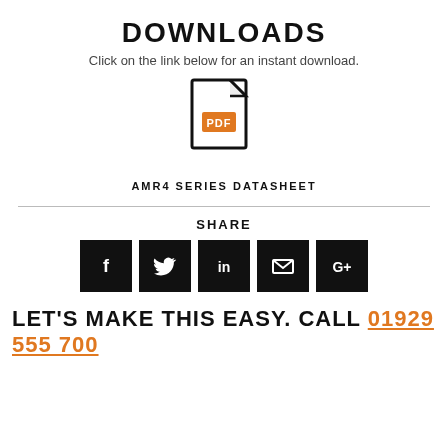DOWNLOADS
Click on the link below for an instant download.
[Figure (illustration): PDF file icon with orange PDF label badge]
AMR4 SERIES DATASHEET
SHARE
[Figure (infographic): Social sharing buttons: Facebook, Twitter, LinkedIn, Email, Google+]
LET'S MAKE THIS EASY. CALL 01929 555 700